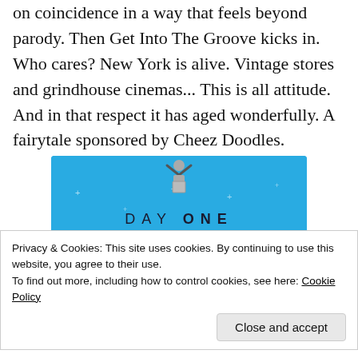on coincidence in a way that feels beyond parody. Then Get Into The Groove kicks in. Who cares? New York is alive. Vintage stores and grindhouse cinemas... This is all attitude. And in that respect it has aged wonderfully. A fairytale sponsored by Cheez Doodles.
[Figure (illustration): Day One journaling app advertisement on a light blue background with sparkle dots, showing a small figure holding a package at the top, text reading DAY ONE and The only journaling app you'll ever need.]
Privacy & Cookies: This site uses cookies. By continuing to use this website, you agree to their use.
To find out more, including how to control cookies, see here: Cookie Policy
Close and accept